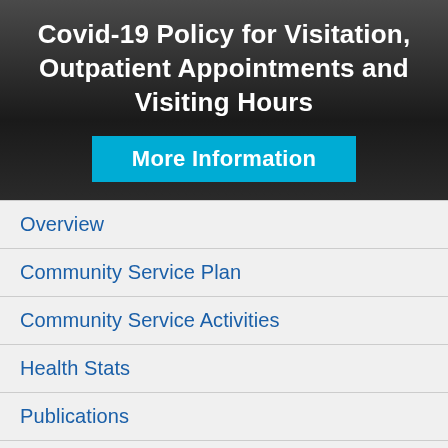Covid-19 Policy for Visitation, Outpatient Appointments and Visiting Hours
More Information
Overview
Community Service Plan
Community Service Activities
Health Stats
Publications
Stop Tobacco
Mobile Mammography Unit
Careers
Patient Rights